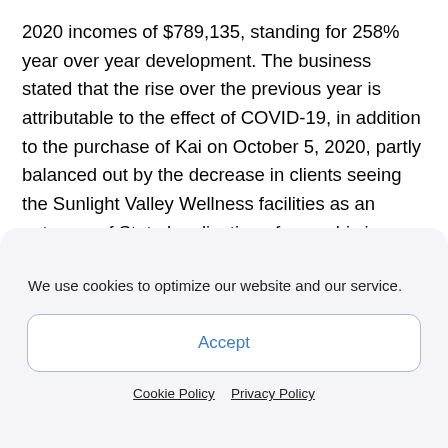2020 incomes of $789,135, standing for 258% year over year development. The business stated that the rise over the previous year is attributable to the effect of COVID-19, in addition to the purchase of Kai on October 5, 2020, partly balanced out by the decrease in clients seeing the Sunlight Valley Wellness facilities as an outcome of State legalisation of cannabis in November 2020. In June 2021, Empower became part of a six-month pilot program with PharmaChoice to offer Kai Treatment saliva examination packages. PharmaChoice is a fast-growing, separately had Canadian Drug store connect with greater than 900 places covering the
We use cookies to optimize our website and our service.
Accept
Cookie Policy   Privacy Policy